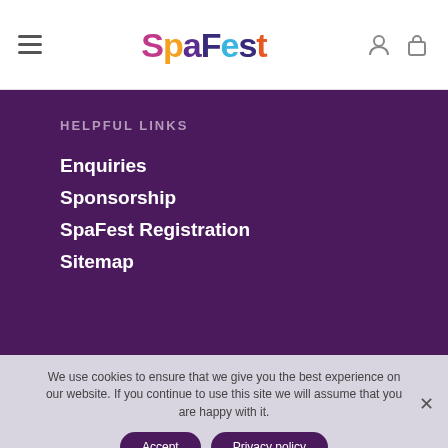SpaFest – site header with hamburger menu, logo, user icon, and bag icon
HELPFUL LINKS
Enquiries
Sponsorship
SpaFest Registration
Sitemap
We use cookies to ensure that we give you the best experience on our website. If you continue to use this site we will assume that you are happy with it.
Accept | Privacy policy